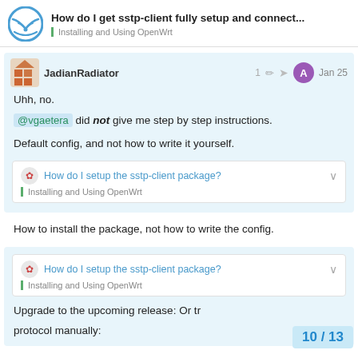How do I get sstp-client fully setup and connect... | Installing and Using OpenWrt
JadianRadiator — Jan 25
Uhh, no.
@vgaetera did not give me step by step instructions.

Default config, and not how to write it yourself.
How do I setup the sstp-client package?
Installing and Using OpenWrt
How to install the package, not how to write the config.
How do I setup the sstp-client package?
Installing and Using OpenWrt
Upgrade to the upcoming release: Or try protocol manually:
10 / 13